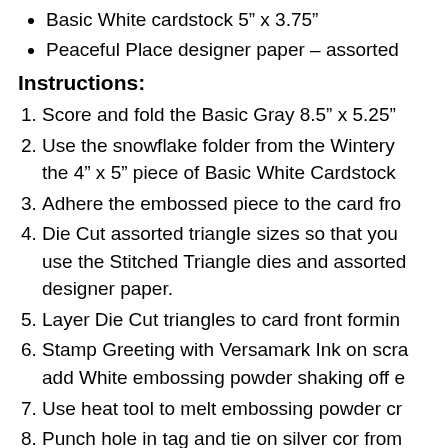Basic White cardstock 4" x 5
Basic White cardstock 5" x 3.75"
Peaceful Place designer paper – assorted
Instructions:
Score and fold the Basic Gray 8.5" x 5.25"
Use the snowflake folder from the Wintery the 4" x 5" piece of Basic White Cardstock
Adhere the embossed piece to the card fro
Die Cut assorted triangle sizes so that you use the Stitched Triangle dies and assorted designer paper.
Layer Die Cut triangles to card front formin
Stamp Greeting with Versamark Ink on scra add White embossing powder shaking off e
Use heat tool to melt embossing powder cr
Punch hole in tag and tie on silver cor from
Add tag to tree with dimensionals